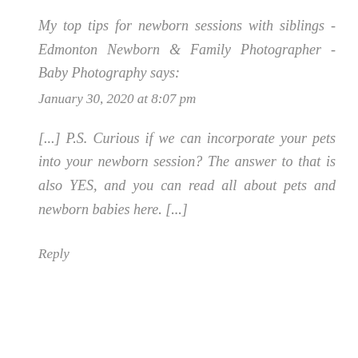My top tips for newborn sessions with siblings - Edmonton Newborn & Family Photographer - Baby Photography says:
January 30, 2020 at 8:07 pm
[...] P.S. Curious if we can incorporate your pets into your newborn session? The answer to that is also YES, and you can read all about pets and newborn babies here. [...]
Reply